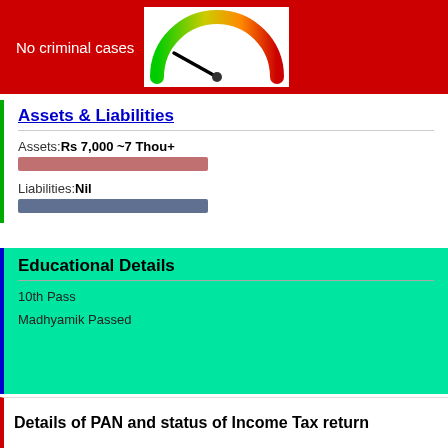[Figure (infographic): Red banner with 'No criminal cases' text on the left and a speedometer/gauge diagram on the right showing a needle pointing to the green/low end of a color gradient arc from green to red.]
Assets & Liabilities
Assets: Rs 7,000 ~7 Thou+
[Figure (infographic): Horizontal bar chart showing assets bar in red/mauve color]
Liabilities: Nil
[Figure (infographic): Horizontal bar showing liabilities in steel blue color]
Educational Details
10th Pass
Madhyamik Passed
Details of PAN and status of Income Tax return